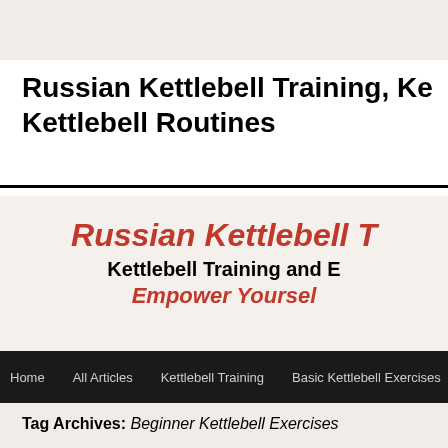Russian Kettlebell Training, Kettlebell Routines
[Figure (screenshot): Website banner showing 'Russian Kettlebell T...' in red italic, 'Kettlebell Training and E...' in black bold, 'Empower Yoursel...' in red italic]
Home | All Articles | Kettlebell Training | Basic Kettlebell Exercises
Tag Archives: Beginner Kettlebell Exercises